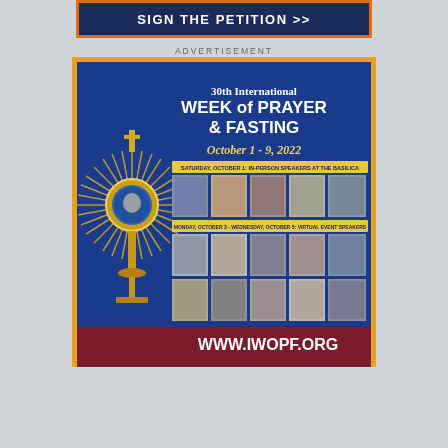[Figure (other): Sign the Petition banner button with dark navy background and orange border, white bold text reading SIGN THE PETITION >>]
ADVERTISEMENT
[Figure (illustration): Advertisement for the 30th International Week of Prayer & Fasting, October 1-9, 2022. Features a golden monstrance on the left, text on blue background, rows of speaker photos, and website www.iwopf.org at bottom on dark red band.]